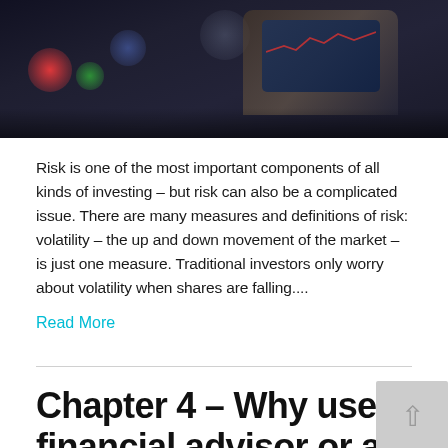[Figure (photo): Dark bokeh photo of a person holding a tablet/phone with financial chart, showing colorful bokeh lights in background]
Risk is one of the most important components of all kinds of investing – but risk can also be a complicated issue. There are many measures and definitions of risk: volatility – the up and down movement of the market – is just one measure. Traditional investors only worry about volatility when shares are falling....
Read More
Chapter 4 – Why use a financial advisor or an